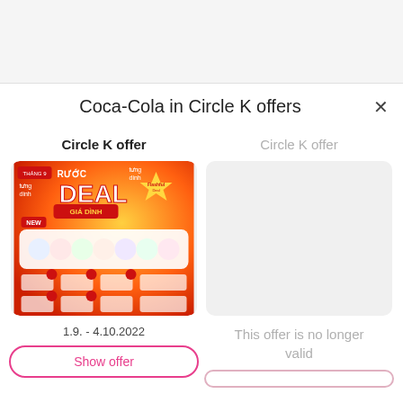Coca-Cola in Circle K offers
Circle K offer
Circle K offer
[Figure (photo): Circle K promotional flyer for September deals featuring Coca-Cola and other products with text RƯỚC DEAL, NEW products displayed]
1.9. - 4.10.2022
Show offer
This offer is no longer valid